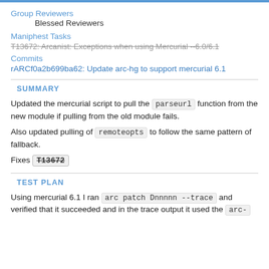Group Reviewers
Blessed Reviewers
Maniphest Tasks
T13672: Arcanist: Exceptions when using Mercurial --6.0/6.1 (strikethrough)
Commits
rARCf0a2b699ba62: Update arc-hg to support mercurial 6.1
SUMMARY
Updated the mercurial script to pull the parseurl function from the new module if pulling from the old module fails.
Also updated pulling of remoteopts to follow the same pattern of fallback.
Fixes T13672
TEST PLAN
Using mercurial 6.1 I ran arc patch Dnnnnn --trace and verified that it succeeded and in the trace output it used the arc-